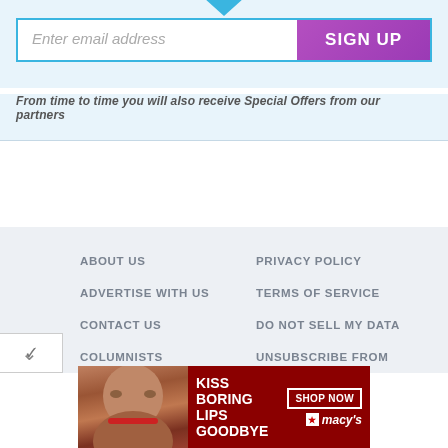[Figure (screenshot): Email signup form with a blue-bordered input field showing placeholder 'Enter email address' and a purple 'SIGN UP' button, with a blue downward-pointing arrow above]
From time to time you will also receive Special Offers from our partners
ABOUT US
PRIVACY POLICY
ADVERTISE WITH US
TERMS OF SERVICE
CONTACT US
DO NOT SELL MY DATA
COLUMNISTS
UNSUBSCRIBE FROM
[Figure (photo): Macy's advertisement banner: 'KISS BORING LIPS GOODBYE' with a woman's face, red lips, 'SHOP NOW' button and Macy's star logo on dark red background]